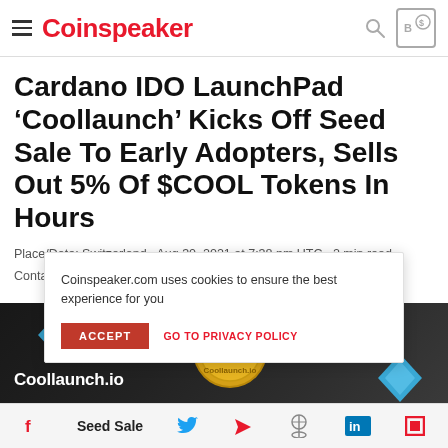Coinspeaker
Cardano IDO LaunchPad 'Coollaunch' Kicks Off Seed Sale To Early Adopters, Sells Out 5% Of $COOL Tokens In Hours
Place/Date: Switzerland · Aug 30, 2021 at 7:38 pm UTC · 2 min read
Contact: LOUIS TREMBLAY, Source: CoolLaunch
Coinspeaker.com uses cookies to ensure the best experience for you
[Figure (screenshot): Coollaunch.io promotional image with dark background, gold coin and blue diamond shapes, showing Coollaunch.io branding]
Social share bar: Facebook, Seed Sale, Twitter, Email, Reddit, LinkedIn, Copy